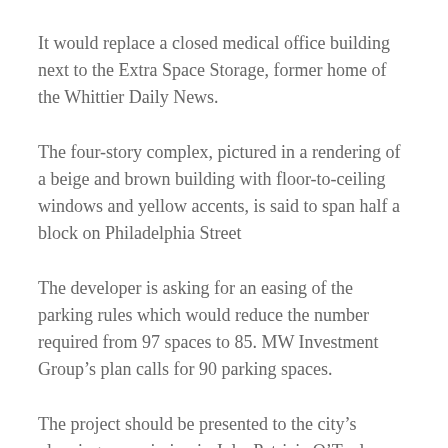It would replace a closed medical office building next to the Extra Space Storage, former home of the Whittier Daily News.
The four-story complex, pictured in a rendering of a beige and brown building with floor-to-ceiling windows and yellow accents, is said to span half a block on Philadelphia Street
The developer is asking for an easing of the parking rules which would reduce the number required from 97 spaces to 85. MW Investment Group’s plan calls for 90 parking spaces.
The project should be presented to the city’s planning commission in July. Patricia O’Toole, chair of the commission, raised concerns about its heavy footprint and its 64-foot height, among the tallest on the street.
“I’m just worried – the design is well thought out, but basically it’s going to be one of the biggest buildings out there,” O’Toole said. “For